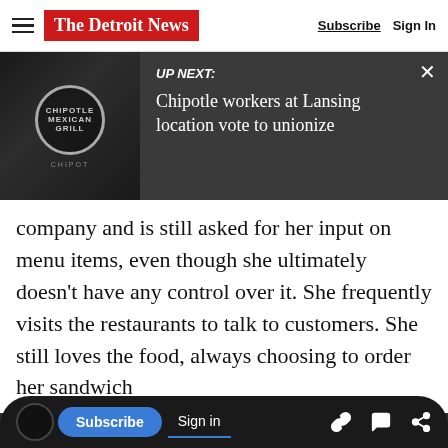The Detroit News | Subscribe  Sign In
[Figure (screenshot): UP NEXT banner with Chipotle restaurant image on left and text 'UP NEXT: Chipotle workers at Lansing location vote to unionize' on dark background with close X button]
company and is still asked for her input on menu items, even though she ultimately doesn't have any control over it. She frequently visits the restaurants to talk to customers. She still loves the food, always choosing to order her sandwich
This article is free to the community.
$1 for 6 Months.
Subscribe now
Subscribe  Sign in